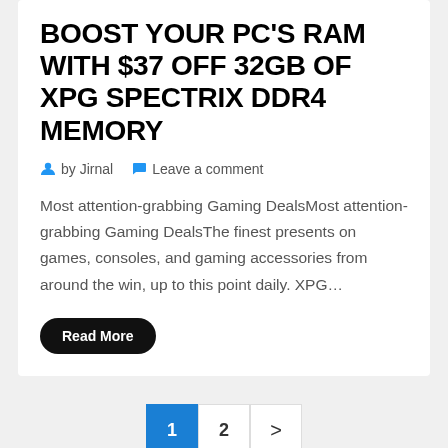BOOST YOUR PC'S RAM WITH $37 OFF 32GB OF XPG SPECTRIX DDR4 MEMORY
by Jirnal   Leave a comment
Most attention-grabbing Gaming DealsMost attention-grabbing Gaming DealsThe finest presents on games, consoles, and gaming accessories from around the win, up to this point daily. XPG…
Read More
1  2  >